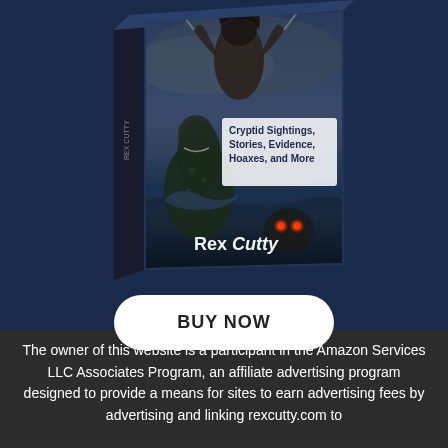[Figure (illustration): A 3D book box set cover for a book by Rex Cutty, featuring cryptid/monster artwork including a chained barbarian figure at top, a sea monster or creature rising from water, and glowing-eyed creature at bottom right. The cover text reads 'Cryptid Sightings, Stories, Evidence, Hoaxes, and More' and 'Rex Cutty'. Dark stormy background.]
BUY NOW
The owner of this website is a participant in the Amazon Services LLC Associates Program, an affiliate advertising program designed to provide a means for sites to earn advertising fees by advertising and linking rexcutty.com to